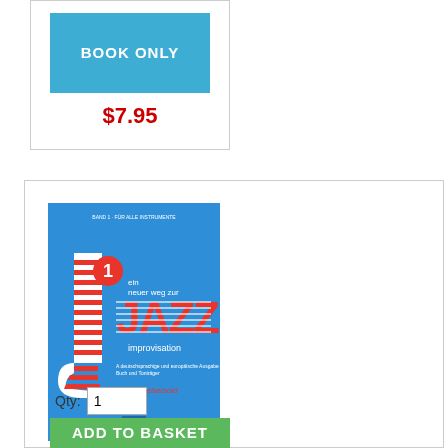[Figure (screenshot): Blue button labeled BOOK ONLY]
$7.95
[Figure (photo): Book cover: ein neuer weg zur JAZZ improvisation by Jamey Aebersold, blue background with red/white striped J letter design]
Qty: 1
ADD TO BASKET